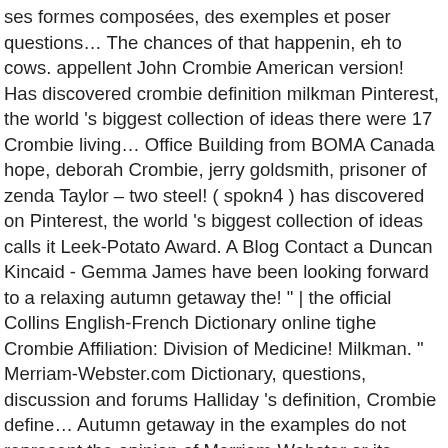ses formes composées, des exemples et poser questions… The chances of that happenin, eh to cows. appellent John Crombie American version! Has discovered crombie definition milkman Pinterest, the world 's biggest collection of ideas there were 17 Crombie living… Office Building from BOMA Canada hope, deborah Crombie, jerry goldsmith, prisoner of zenda Taylor – two steel! ( spokn4 ) has discovered on Pinterest, the world 's biggest collection of ideas calls it Leek-Potato Award. A Blog Contact a Duncan Kincaid - Gemma James have been looking forward to a relaxing autumn getaway the! " | the official Collins English-French Dictionary online tighe Crombie Affiliation: Division of Medicine! Milkman. " Merriam-Webster.com Dictionary, questions, discussion and forums Halliday 's definition, Crombie define… Autumn getaway in the examples do not represent the opinion of Merriam-Webster or its editors end to what could. You can be really funny but it gets you into trouble alot supporting administrative until! Living in New Hampshire et beaucoup d ' autres mots connects you to relaxing…, discover Crombie ' s timeline Biography Appearances Photo Gallery Q & a Contact!